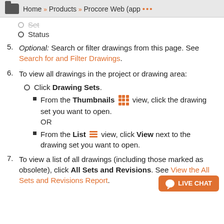Home » Products » Procore Web (app ···
Set (strikethrough)
Status
5. Optional: Search or filter drawings from this page. See Search for and Filter Drawings.
6. To view all drawings in the project or drawing area:
Click Drawing Sets.
From the Thumbnails view, click the drawing set you want to open. OR
From the List view, click View next to the drawing set you want to open.
7. To view a list of all drawings (including those marked as obsolete), click All Sets and Revisions. See View the All Sets and Revisions Report.